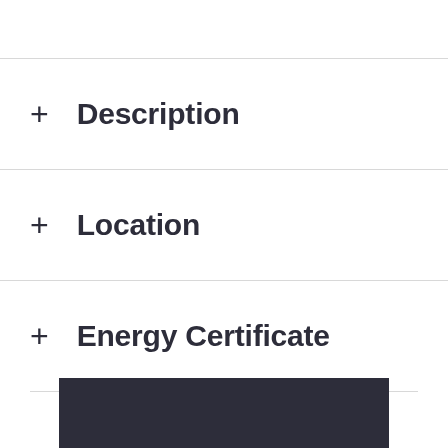+ Description
+ Location
+ Energy Certificate